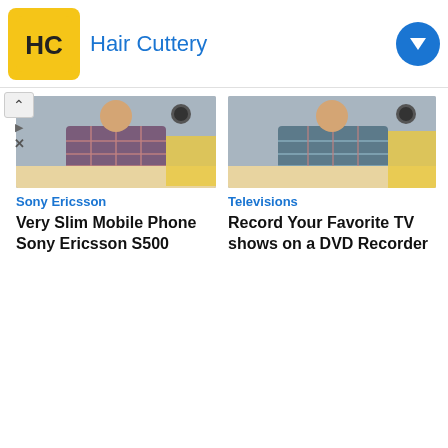[Figure (logo): Hair Cuttery advertisement banner with yellow HC logo and blue text reading Hair Cuttery]
[Figure (photo): Person wearing plaid shirt working at a desk - Sony Ericsson mobile phone article thumbnail]
Sony Ericsson
Very Slim Mobile Phone Sony Ericsson S500
[Figure (photo): Person wearing plaid shirt working at a desk - Televisions DVD recorder article thumbnail]
Televisions
Record Your Favorite TV shows on a DVD Recorder